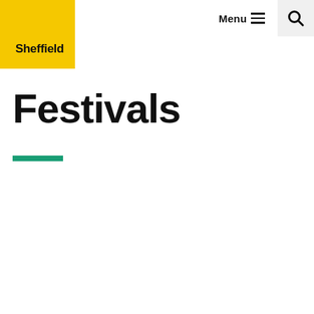[Figure (logo): Sheffield city council / Sheffield Festivals logo with yellow background block]
Menu
Festivals
[Figure (other): Green horizontal decorative bar/underline beneath the Festivals title]